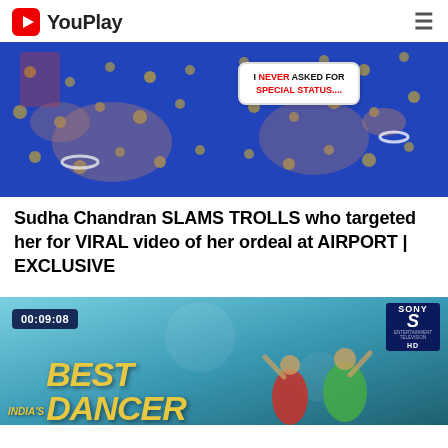YouPlay
[Figure (screenshot): Thumbnail image of Sudha Chandran in a blue saree with gold dots, with a speech bubble overlay reading: I NEVER ASKED FOR SPECIAL STATUS....]
Sudha Chandran SLAMS TROLLS who targeted her for VIRAL video of her ordeal at AIRPORT | EXCLUSIVE
[Figure (screenshot): Thumbnail for India's Best Dancer video on Sony Entertainment Television HD, showing dancers in colorful costumes, duration 00:09:08]